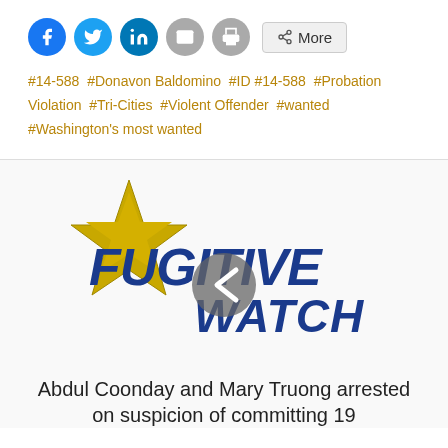[Figure (other): Social media share buttons: Facebook, Twitter, LinkedIn, Email, Print, and More]
#14-588  #Donavon Baldomino  #ID #14-588  #Probation Violation  #Tri-Cities  #Violent Offender  #wanted  #Washington's most wanted
[Figure (logo): Fugitive Watch logo: gold sheriff star badge with FUGITIVE WATCH text in blue, with a circular back arrow navigation button overlaid in the center]
Abdul Coonday and Mary Truong arrested on suspicion of committing 19